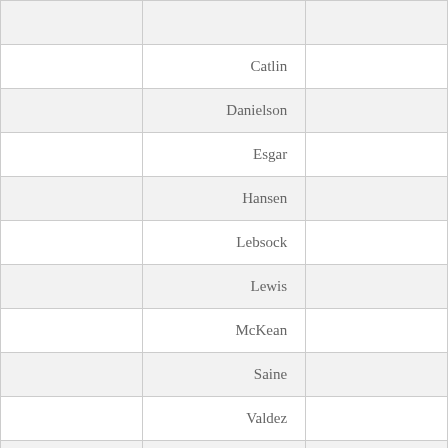|  |  |  |
| --- | --- | --- |
|  |  |  |
|  | Catlin |  |
|  | Danielson |  |
|  | Esgar |  |
|  | Hansen |  |
|  | Lebsock |  |
|  | Lewis |  |
|  | McKean |  |
|  | Saine |  |
|  | Valdez |  |
|  | Willett |  |